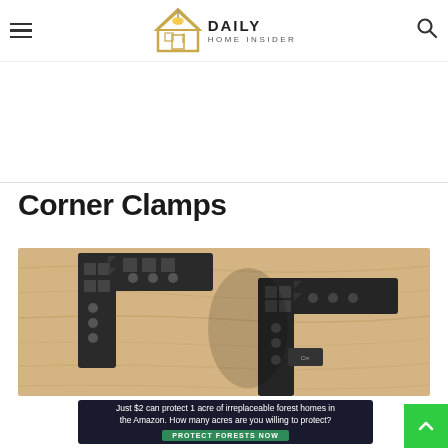Daily Home Insider
Corner Clamps
[Figure (photo): Two black plastic L-shaped corner clamps lying on a light wood surface]
[Figure (infographic): Advertisement banner: Just $2 can protect 1 acre of irreplaceable forest homes in the Amazon. How many acres are you willing to protect? PROTECT FORESTS NOW]